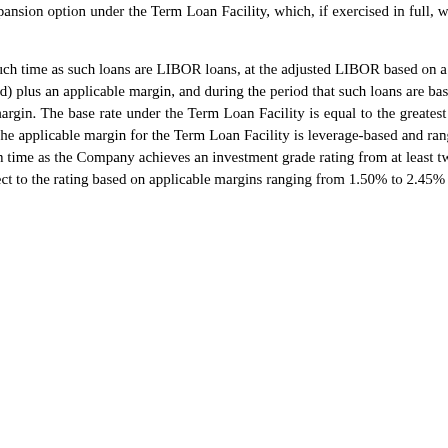and all accrued but unpaid interest, is due at the maturity date. The Company has an expansion option under the Term Loan Facility, which, if exercised in full, would provide for a total Term Loan Facility in an aggregate amount of $1,250.0 million.
Interest rates applicable to loans under the Term Loan Facility are payable during such time as such loans are LIBOR loans, at the adjusted LIBOR based on a 1, 2, 3 or 6 month LIBOR rate (as elected by the Company at the beginning of the applicable interest period) plus an applicable margin, and during the period that such loans are base rate loans, at the base rate under the Term Loan Facility in effect from time to time plus an applicable margin. The base rate under the Term Loan Facility is equal to the greatest of the Wall Street One prime rate, the federal funds rate plus 0.50%, and one month LIBOR plus 1.00%. The applicable margin for the Term Loan Facility is leverage-based and ranges from 1.75% to 2.35% for LIBOR loans and 0.75% to 1.35% for base rate loans; provided that after such time as the Company achieves an investment grade rating from at least two rating agencies, the Company may elect (but is not required to elect) that the Term Loan Facility be subject to the rating based on applicable margins ranging from 1.50% to 2.45% for LIBOR